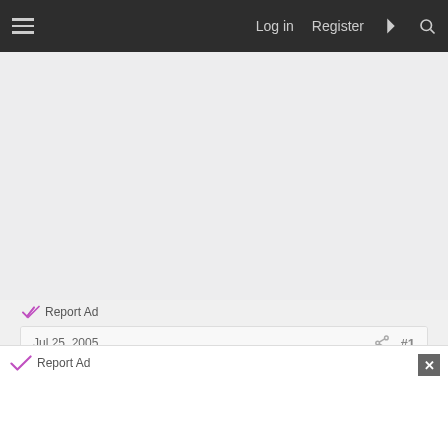Log in  Register
[Figure (screenshot): Advertisement area (blank/grey)]
Report Ad
Jul 25, 2005  #1
pinkjule
Report Ad